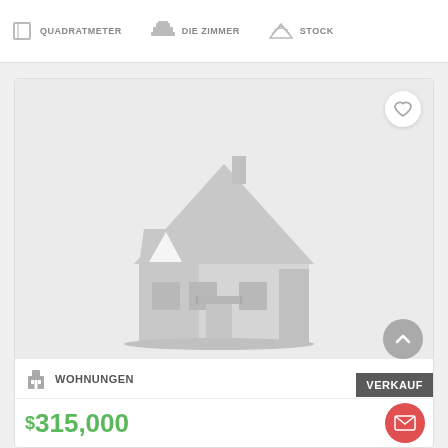QUADRATMETER  DIE ZIMMER  STOCK
[Figure (illustration): Real estate listing card with a gray placeholder house icon in the center of a light gray image area. A heart/favorite button is in the top-right corner. Bottom shows property type icon and WOHNUNGEN label, a VERKAUF (sale) badge, and a price of $315,000 in green.]
WOHNUNGEN
VERKAUF
$315,000